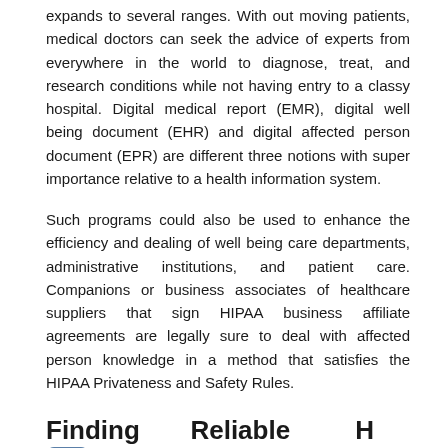expands to several ranges. With out moving patients, medical doctors can seek the advice of experts from everywhere in the world to diagnose, treat, and research conditions while not having entry to a classy hospital. Digital medical report (EMR), digital well being document (EHR) and digital affected person document (EPR) are different three notions with super importance relative to a health information system.
Such programs could also be used to enhance the efficiency and dealing of well being care departments, administrative institutions, and patient care. Companions or business associates of healthcare suppliers that sign HIPAA business affiliate agreements are legally sure to deal with affected person knowledge in a method that satisfies the HIPAA Privateness and Safety Rules.
Finding Reliable Health Information On The Internet